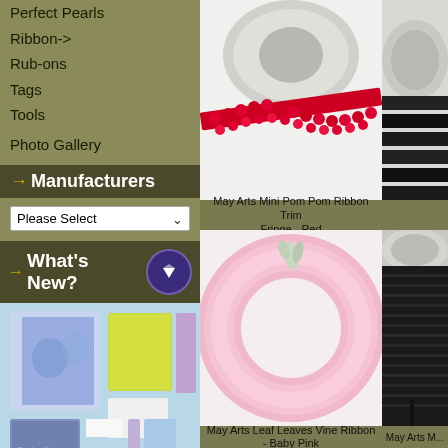Perfect Pearls
Ribbon->
Rub-ons
Tags
Tools
Photo Gallery
→Manufacturers
Please Select
What's New?
[Figure (photo): Craft kit with decorative papers, stamps, flowers]
[Figure (photo): May Arts Mini Pom Pom Ribbon Trim Fringe - Red, red pom pom ribbon on spool]
May Arts Mini Pom Pom Ribbon Trim Fringe - Red
[Figure (photo): May Arts Leaf Leaves Vine Ribbon - Baby Pink, pink fluffy ribbon]
May Arts Leaf Leaves Vine Ribbon - Baby Pink
[Figure (photo): May Arts black ribbon on spool, partially visible]
May Arts M...